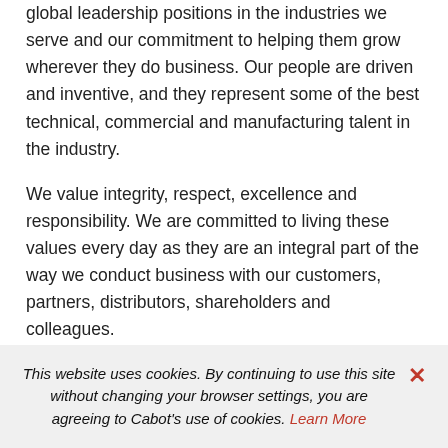global leadership positions in the industries we serve and our commitment to helping them grow wherever they do business. Our people are driven and inventive, and they represent some of the best technical, commercial and manufacturing talent in the industry.
We value integrity, respect, excellence and responsibility. We are committed to living these values every day as they are an integral part of the way we conduct business with our customers, partners, distributors, shareholders and colleagues.
This website uses cookies. By continuing to use this site without changing your browser settings, you are agreeing to Cabot's use of cookies. Learn More